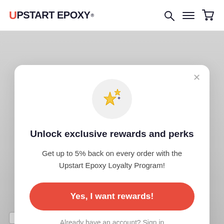UPSTART EPOXY®
[Figure (screenshot): Website navigation bar with Upstart Epoxy logo, search icon, menu icon, and cart icon]
Unlock exclusive rewards and perks
Get up to 5% back on every order with the Upstart Epoxy Loyalty Program!
Yes, I want rewards!
Already have an account? Sign in